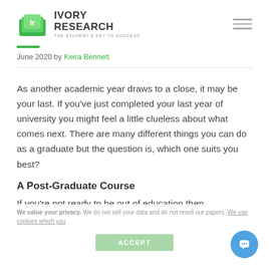[Figure (logo): Ivory Research logo with green stacked book icon and text 'IVORY RESEARCH – THE STUDENT'S KEY TO SUCCESS']
June 2020 by Keira Bennett
As another academic year draws to a close, it may be your last. If you've just completed your last year of university you might feel a little clueless about what comes next. There are many different things you can do as a graduate but the question is, which one suits you best?
A Post-Graduate Course
If you're not ready to be out of education then